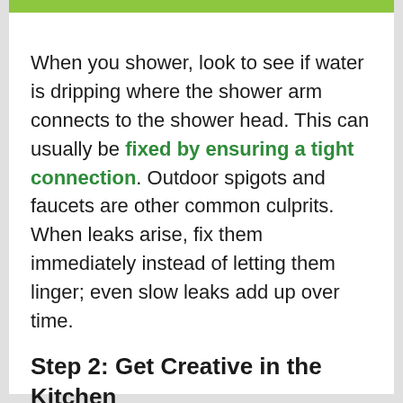When you shower, look to see if water is dripping where the shower arm connects to the shower head. This can usually be fixed by ensuring a tight connection. Outdoor spigots and faucets are other common culprits. When leaks arise, fix them immediately instead of letting them linger; even slow leaks add up over time.
Step 2: Get Creative in the Kitchen